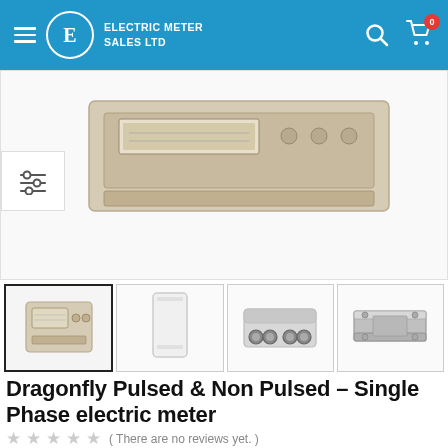Electric Meter Sales Ltd
[Figure (photo): Main product image area showing top portion of Dragonfly electric meter (cream/beige colored), partially cropped with slider/filter icon on left side]
[Figure (photo): Thumbnail 1 (active/selected): Dragonfly single phase electric meter, cream colored, front view with LCD display]
[Figure (photo): Thumbnail 2: White rectangular enclosure/housing, tall narrow form factor]
[Figure (photo): Thumbnail 3: Grey electric meter connection block with 4 round ports/terminals on front]
[Figure (photo): Thumbnail 4: Metallic silver DIN rail mounting bracket for electric meter]
Dragonfly Pulsed & Non Pulsed – Single Phase electric meter
( There are no reviews yet. )